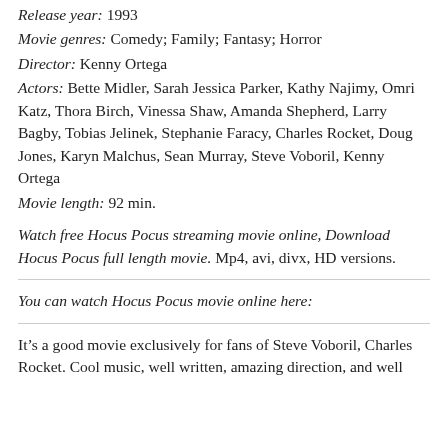Release year: 1993
Movie genres: Comedy; Family; Fantasy; Horror
Director: Kenny Ortega
Actors: Bette Midler, Sarah Jessica Parker, Kathy Najimy, Omri Katz, Thora Birch, Vinessa Shaw, Amanda Shepherd, Larry Bagby, Tobias Jelinek, Stephanie Faracy, Charles Rocket, Doug Jones, Karyn Malchus, Sean Murray, Steve Voboril, Kenny Ortega
Movie length: 92 min.
Watch free Hocus Pocus streaming movie online, Download Hocus Pocus full length movie. Mp4, avi, divx, HD versions.
You can watch Hocus Pocus movie online here:
It’s a good movie exclusively for fans of Steve Voboril, Charles Rocket. Cool music, well written, amazing direction, and well